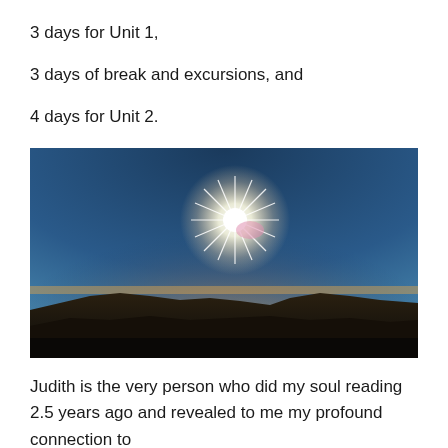3 days for Unit 1,
3 days of break and excursions, and
4 days for Unit 2.
[Figure (photo): Landscape photograph showing a bright sun with starburst effect in a deep blue sky above a dark silhouetted mountain ridge, with a warm horizon glow at the treeline.]
Judith is the very person who did my soul reading 2.5 years ago and revealed to me my profound connection to